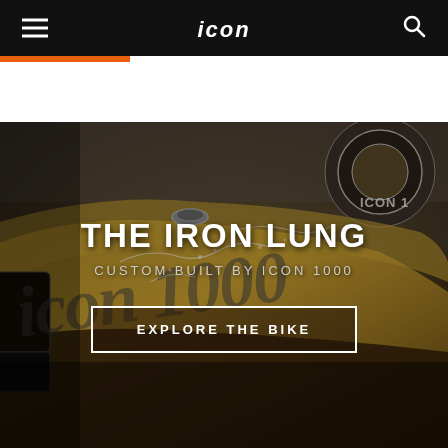icon 1000 navigation bar
[Figure (photo): Close-up photo of a custom motorcycle tank with gold and dark metallic finish, featuring stylized 'icon 1000' script lettering and decorative white line art. The image has a dark, moody, desaturated tone.]
THE IRON LUNG
CUSTOM BUILT BY ICON 1000
EXPLORE THE BIKE